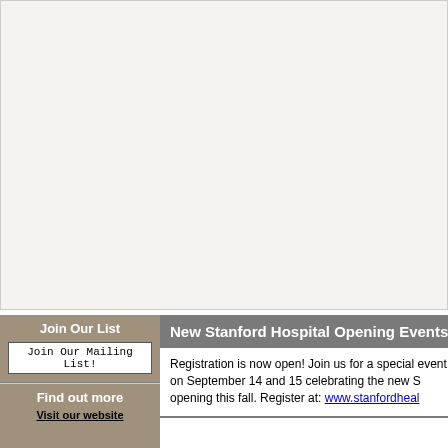[Figure (other): Large white/light beige image area at top of page, appears to be a cropped photo with very light content]
Join Our List
Join Our Mailing List!
Find out more
Visit our website
New Stanford Hospital Opening Events
Registration is now open! Join us for a special event on September 14 and 15 celebrating the new Stanford Hospital opening this fall. Register at: www.stanfordhealth...